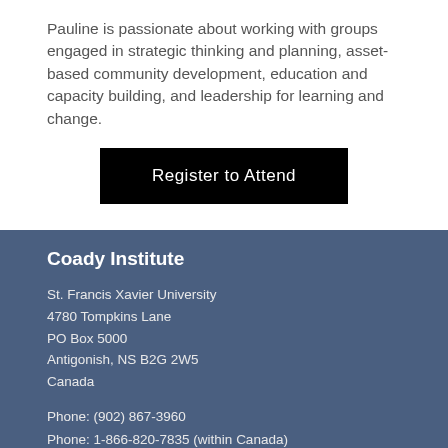Pauline is passionate about working with groups engaged in strategic thinking and planning, asset-based community development, education and capacity building, and leadership for learning and change.
[Figure (other): Black rectangular button with white text reading 'Register to Attend']
Coady Institute
St. Francis Xavier University
4780 Tompkins Lane
PO Box 5000
Antigonish, NS B2G 2W5
Canada
Phone: (902) 867-3960
Phone: 1-866-820-7835 (within Canada)
Fax: (902) 867-3907